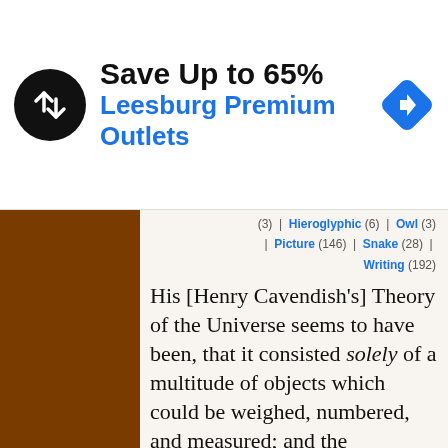[Figure (screenshot): Advertisement banner: black circular logo with double-arrow icon, text 'Save Up to 65%' in bold black, 'Leesburg Premium Outlets' in bold blue, blue diamond navigation icon on the right.]
(3) | Hieroglyphic (6) | Owl (3) | Picture (146) | Snake (28) | Writing (192)
His [Henry Cavendish’s] Theory of the Universe seems to have been, that it consisted solely of a multitude of objects which could be weighed, numbered, and measured; and the vocation to which he considered himself called was, to weigh, number and measure as many of those objects as
This website uses cookies to deliver its content, to show relevant ads and to analyze its traffic. Learn More
Got It